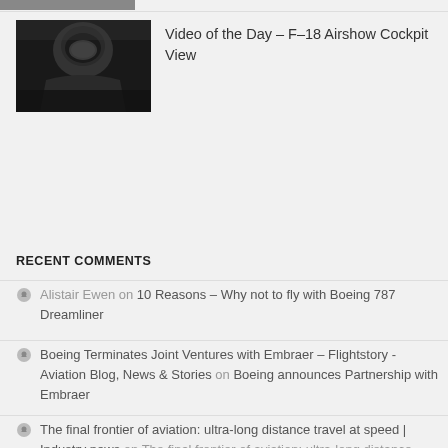[Figure (photo): Partial top strip of an image, cut off at top of page]
[Figure (photo): Thumbnail image of an F-18 cockpit view with pilot in helmet visible from above]
Video of the Day – F–18 Airshow Cockpit View
RECENT COMMENTS
Alistair Ewen on 10 Reasons – Why not to fly with Boeing 787 Dreamliner
Boeing Terminates Joint Ventures with Embraer – Flightstory - Aviation Blog, News & Stories on Boeing announces Partnership with Embraer
The final frontier of aviation: ultra-long distance travel at speed | Industry news on The final frontier of aviation: ultra-long distance travel at speed